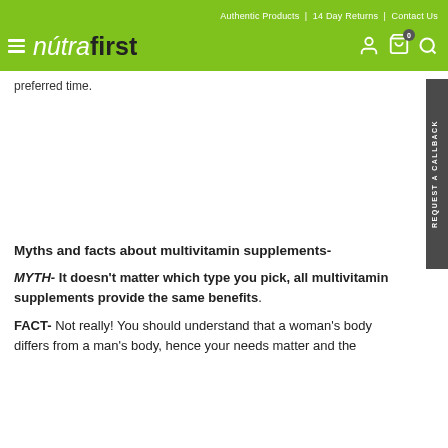Authentic Products | 14 Day Returns | Contact Us
[Figure (logo): Nutrafirst logo with hamburger menu icon, user icon, cart icon with 0 badge, and search icon on green background]
preferred time.
Myths and facts about multivitamin supplements-
MYTH- It doesn't matter which type you pick, all multivitamin supplements provide the same benefits.
FACT- Not really! You should understand that a woman's body differs from a man's body, hence your needs matter and the